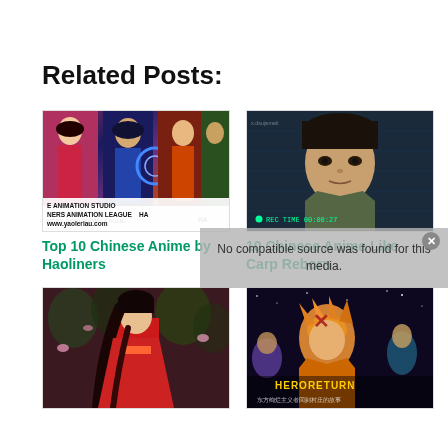Related Posts:
[Figure (photo): Collage of Chinese anime characters with text: E ANIMATION STUDIO, NERS ANIMATION LEAGUE, HA, www.yaoleriau.com]
[Figure (photo): Dark blue-toned 3D rendered male anime character face with REC TIME display]
Top 10 Chinese Anime by Haoliners
10 Chinese Anime Like Carp Reborn
[Figure (photo): Red-robed female anime character in a forest setting]
[Figure (photo): Hero Return anime cover with orange-haired character and Chinese text]
No compatible source was found for this media.